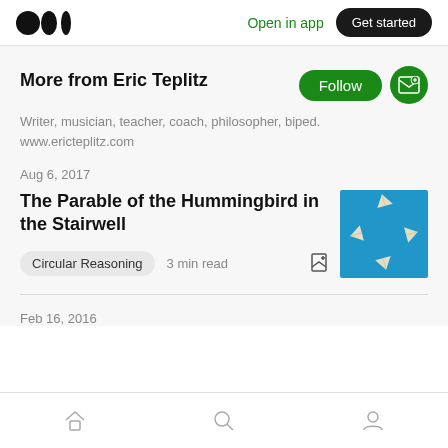Medium logo | Open in app | Get started
More from Eric Teplitz
Writer, musician, teacher, coach, philosopher, biped.
www.ericteplitz.com
Aug 6, 2017
The Parable of the Hummingbird in the Stairwell
Circular Reasoning   3 min read
Feb 16, 2016
Home | Search | Profile